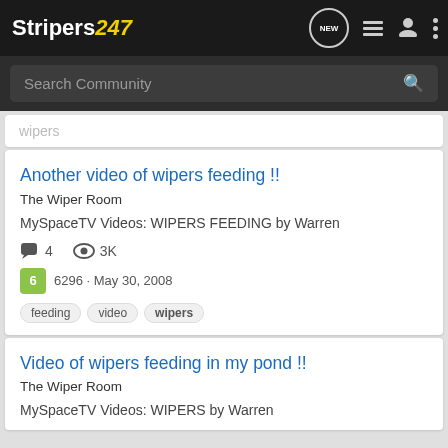Stripers247
Search Community
wipers
Another video of wipers feeding !!
The Wiper Room
MySpaceTV Videos: WIPERS FEEDING by Warren
4 comments · 3K views · 6 · 6296 · May 30, 2008 · Tags: feeding, video, wipers
Video of wipers feeding in my pond !!
The Wiper Room
MySpaceTV Videos: WIPERS by Warren